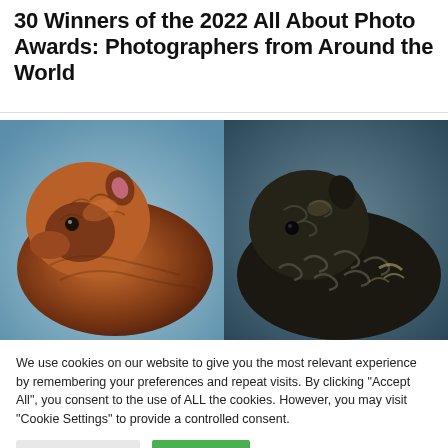30 Winners of the 2022 All About Photo Awards: Photographers from Around the World
[Figure (photo): Split image showing two guinea pigs side by side: left guinea pig is orange/brown with fluffy fur against a light blue background; right guinea pig is dark black with curly fur against a dark blue background.]
We use cookies on our website to give you the most relevant experience by remembering your preferences and repeat visits. By clicking "Accept All", you consent to the use of ALL the cookies. However, you may visit "Cookie Settings" to provide a controlled consent.
Cookie Settings | Accept All